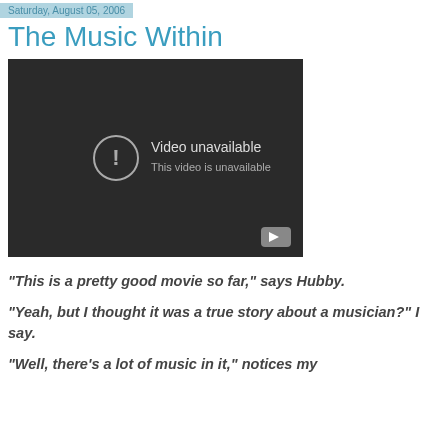Saturday, August 05, 2006
The Music Within
[Figure (screenshot): Embedded YouTube video player showing 'Video unavailable – This video is unavailable' error message on dark background, with a YouTube play button icon in the bottom right corner.]
"This is a pretty good movie so far," says Hubby.
"Yeah, but I thought it was a true story about a musician?" I say.
"Well, there's a lot of music in it," notices my